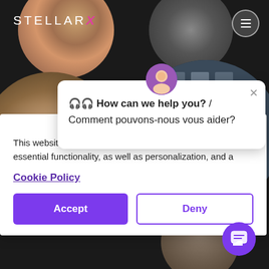[Figure (screenshot): StellarX website background with dark theme and circular photo collage showing a red chair/palm scene, an interior space, a lakeside sunset, an airplane hangar, and a warehouse]
This website stores data such as cookies to enable essential functionality, as well as personalization, and a
Cookie Policy
Accept
Deny
🎧 How can we help you? / Comment pouvons-nous vous aider?